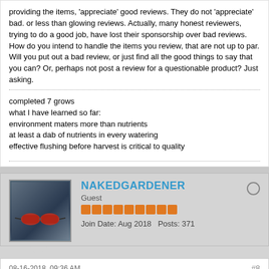providing the items, 'appreciate' good reviews. They do not 'appreciate' bad. or less than glowing reviews. Actually, many honest reviewers, trying to do a good job, have lost their sponsorship over bad reviews.
How do you intend to handle the items you review, that are not up to par. Will you put out a bad review, or just find all the good things to say that you can? Or, perhaps not post a review for a questionable product? Just asking.
completed 7 grows
what I have learned so far:
environment maters more than nutrients
at least a dab of nutrients in every watering
effective flushing before harvest is critical to quality
NAKEDGARDENER
Guest
Join Date: Aug 2018   Posts: 371
08-16-2018, 09:36 AM   #8
I used to be an online video reviewer for air rifle products, and was sent items to review such as top end air rifles from American air arms and Benjamin and Daystate. I got a rifle sent from Benjamin and it was awful, couldn't keep a zero on scopes I fitted, barrel droop was incorrectable, I called them so they sent another for review and this one was even worse!, I refused to review the rifle, and sent it back stating that the only review I could